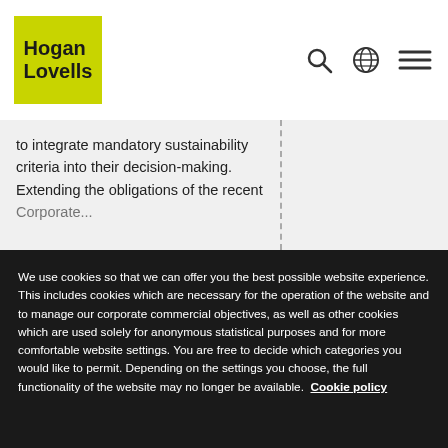[Figure (logo): Hogan Lovells logo - lime green square with bold text 'Hogan Lovells']
[Figure (other): Navigation icons: search magnifying glass, globe/language selector, hamburger menu]
to integrate mandatory sustainability criteria into their decision-making. Extending the obligations of the recent [Corporate...] the EU i...
We use cookies so that we can offer you the best possible website experience. This includes cookies which are necessary for the operation of the website and to manage our corporate commercial objectives, as well as other cookies which are used solely for anonymous statistical purposes and for more comfortable website settings. You are free to decide which categories you would like to permit. Depending on the settings you choose, the full functionality of the website may no longer be available. Cookie policy